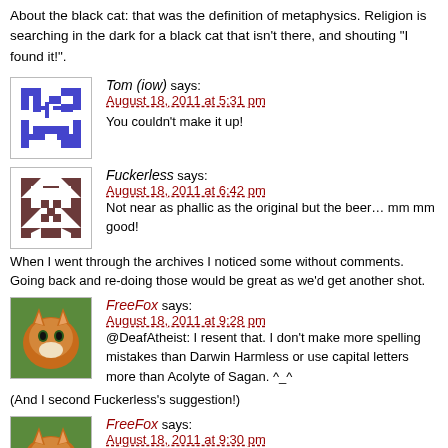About the black cat: that was the definition of metaphysics. Religion is searching in the dark for a black cat that isn't there, and shouting "I found it!".
Tom (iow) says:
August 18, 2011 at 5:31 pm
You couldn't make it up!
Fuckerless says:
August 18, 2011 at 6:42 pm
Not near as phallic as the original but the beer… mm mm good!
When I went through the archives I noticed some without comments. Going back and re-doing those would be great as we'd get another shot.
FreeFox says:
August 18, 2011 at 9:28 pm
@DeafAtheist: I resent that. I don't make more spelling mistakes than Darwin Harmless or use capital letters more than Acolyte of Sagan. ^_^
(And I second Fuckerless's suggestion!)
FreeFox says:
August 18, 2011 at 9:30 pm